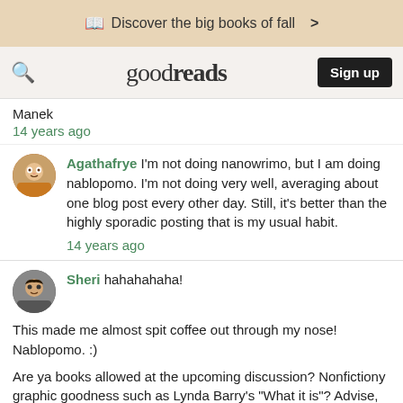Discover the big books of fall >
goodreads  Sign up
Manek
14 years ago
Agathafrye I'm not doing nanowrimo, but I am doing nablopomo. I'm not doing very well, averaging about one blog post every other day. Still, it's better than the highly sporadic posting that is my usual habit.
14 years ago
Sheri hahahahaha!

This made me almost spit coffee out through my nose! Nablopomo. :)

Are ya books allowed at the upcoming discussion? Nonfictiony graphic goodness such as Lynda Barry's "What it is"? Advise, please!